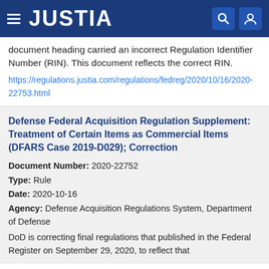JUSTIA
document heading carried an incorrect Regulation Identifier Number (RIN). This document reflects the correct RIN.
https://regulations.justia.com/regulations/fedreg/2020/10/16/2020-22753.html
Defense Federal Acquisition Regulation Supplement: Treatment of Certain Items as Commercial Items (DFARS Case 2019-D029); Correction
Document Number: 2020-22752
Type: Rule
Date: 2020-10-16
Agency: Defense Acquisition Regulations System, Department of Defense
DoD is correcting final regulations that published in the Federal Register on September 29, 2020, to reflect that